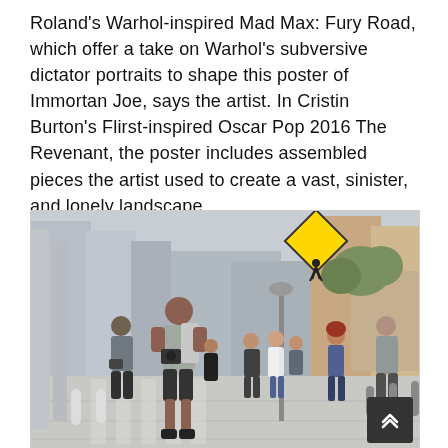Roland's Warhol-inspired Mad Max: Fury Road, which offer a take on Warhol's subversive dictator portraits to shape this poster of Immortan Joe, says the artist. In Cristin Burton's Flirst-inspired Oscar Pop 2016 The Revenant, the poster includes assembled pieces the artist used to create a vast, sinister, and lonely landscape.
[Figure (photo): Street photography scene showing multiple people walking along an urban sidewalk with tall buildings on both sides, a yellow pedestrian crossing sign visible on the right, and a man with a camera in the foreground.]